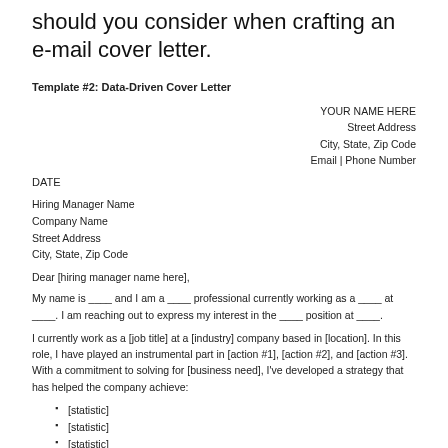should you consider when crafting an e-mail cover letter.
Template #2: Data-Driven Cover Letter
YOUR NAME HERE
Street Address
City, State, Zip Code
Email | Phone Number
DATE
Hiring Manager Name
Company Name
Street Address
City, State, Zip Code
Dear [hiring manager name here],
My name is ____ and I am a ____ professional currently working as a ____ at ____. I am reaching out to express my interest in the ____ position at ____.
I currently work as a [job title] at a [industry] company based in [location]. In this role, I have played an instrumental part in [action #1], [action #2], and [action #3]. With a commitment to solving for [business need], I've developed a strategy that has helped the company achieve:
[statistic]
[statistic]
[statistic]
After reviewing the job description for the [job title] position at your company, I am eager to apply this experience to help your [department] team uncover and execute